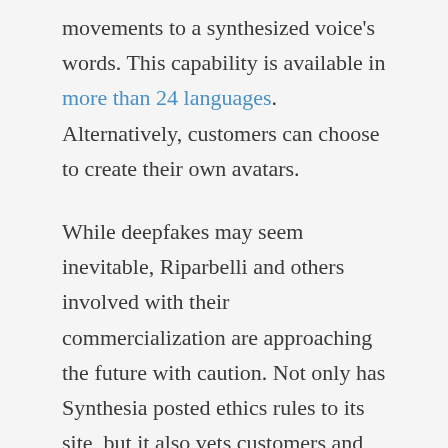movements to a synthesized voice's words. This capability is available in more than 24 languages. Alternatively, customers can choose to create their own avatars.
While deepfakes may seem inevitable, Riparbelli and others involved with their commercialization are approaching the future with caution. Not only has Synthesia posted ethics rules to its site, but it also vets customers and their scripts. It doesn't do anything related to politics, and any model used as an avatar must formally consent first.
Li strongly believes that Rosebud's technology should produce more good than bad. Besides